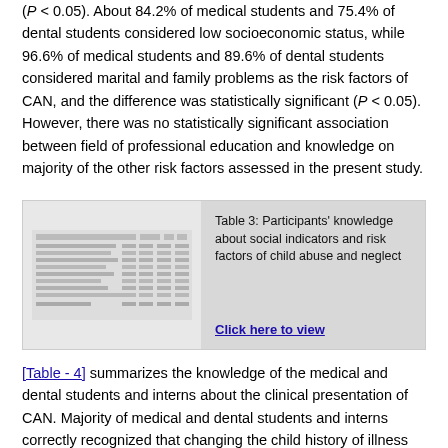( P < 0.05). About 84.2% of medical students and 75.4% of dental students considered low socioeconomic status, while 96.6% of medical students and 89.6% of dental students considered marital and family problems as the risk factors of CAN, and the difference was statistically significant ( P < 0.05). However, there was no statistically significant association between field of professional education and knowledge on majority of the other risk factors assessed in the present study.
[Figure (table-as-image): Thumbnail image of Table 3 showing participants knowledge about social indicators and risk factors of child abuse and neglect]
Table 3: Participants' knowledge about social indicators and risk factors of child abuse and neglect
[Table - 4] summarizes the knowledge of the medical and dental students and interns about the clinical presentation of CAN. Majority of medical and dental students and interns correctly recognized that changing the child history of illness and CAN were related (medical = 89.3%, dental = 82.1%). In addition, most of the medical and dental students and interns correctly identified child fear of specific place or person as a clinical presentation of CAN (medical = 90.4%, dental = ...